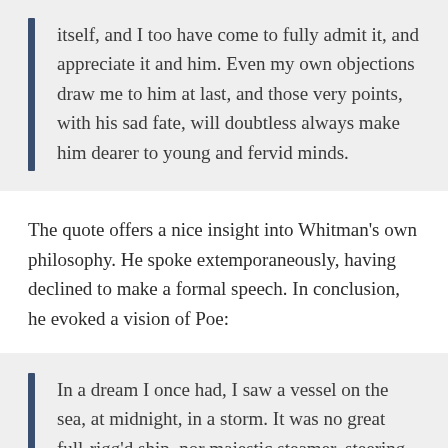itself, and I too have come to fully admit it, and appreciate it and him. Even my own objections draw me to him at last, and those very points, with his sad fate, will doubtless always make him dearer to young and fervid minds.
The quote offers a nice insight into Whitman's own philosophy. He spoke extemporaneously, having declined to make a formal speech. In conclusion, he evoked a vision of Poe:
In a dream I once had, I saw a vessel on the sea, at midnight, in a storm. It was no great full-rigg'd ship, nor majestic steamer, steering firmly through the gale, but seem'd one of those superb